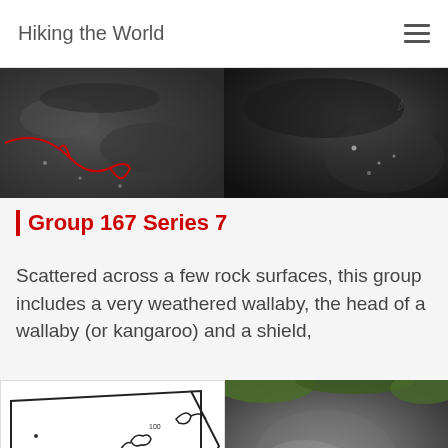Hiking the World
[Figure (photo): Two side-by-side photos of dark rock surfaces with markings. Left photo has red line annotations drawn over it. Right photo shows plain dark rock surface.]
Group 167 Series 7
Scattered across a few rock surfaces, this group includes a very weathered wallaby, the head of a wallaby (or kangaroo) and a shield,
[Figure (illustration): Line drawing/diagram of rock art layout showing shield and animal figures in a triangular rock outline.]
[Figure (photo): Photo of a rock surface showing carved/engraved rock art, appears to show a circular figure on grey rock with green vegetation around edges.]